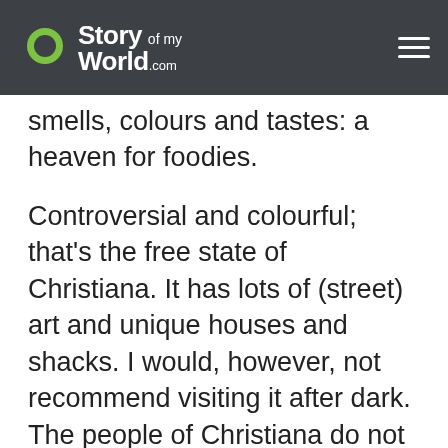Story of my World .com
smells, colours and tastes: a heaven for foodies.
Controversial and colourful; that's the free state of Christiana. It has lots of (street) art and unique houses and shacks. I would, however, not recommend visiting it after dark. The people of Christiana do not appreciate visitors taking pictures; drugs (usage etc.) might be a reason for that.